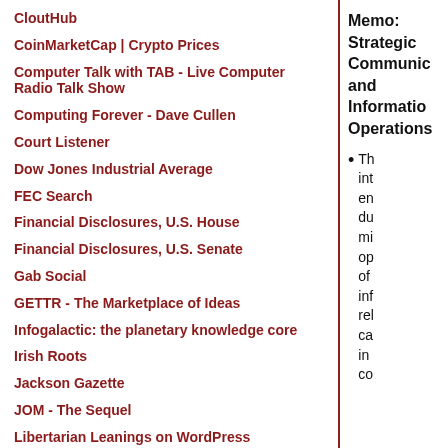CloutHub
CoinMarketCap | Crypto Prices
Computer Talk with TAB - Live Computer Radio Talk Show
Computing Forever - Dave Cullen
Court Listener
Dow Jones Industrial Average
FEC Search
Financial Disclosures, U.S. House
Financial Disclosures, U.S. Senate
Gab Social
GETTR - The Marketplace of Ideas
Infogalactic: the planetary knowledge core
Irish Roots
Jackson Gazette
JOM - The Sequel
Libertarian Leanings on WordPress
Library of Congress
Memo: Strategic Communications and Information Operations
Th int en du mi op of inf rel ca in co